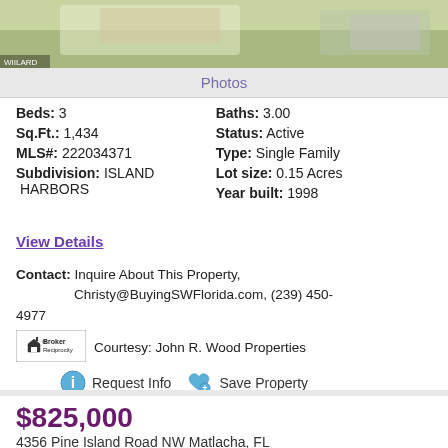[Figure (photo): Aerial/top-down photo of a house with green lawn and driveway]
Photos
Beds: 3   Baths: 3.00
Sq.Ft.: 1,434   Status: Active
MLS#: 222034371   Type: Single Family
Subdivision: ISLAND HARBORS   Lot size: 0.15 Acres
Year built: 1998
View Details
Contact: Inquire About This Property, Christy@BuyingSWFlorida.com, (239) 450-4977
Courtesy: John R. Wood Properties
Request Info   Save Property
View additional info
$825,000
4356 Pine Island Road NW Matlacha, FL